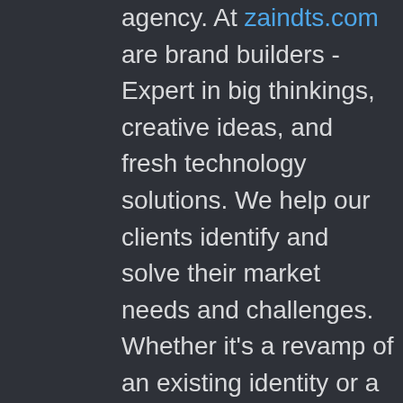agency. At zaindts.com are brand builders - Expert in big thinkings, creative ideas, and fresh technology solutions. We help our clients identify and solve their market needs and challenges. Whether it's a revamp of an existing identity or a more comprehensive strategic brand exercise, our goal is to help our clients craft brands that stand for something, and ultimately stand out from the competition.